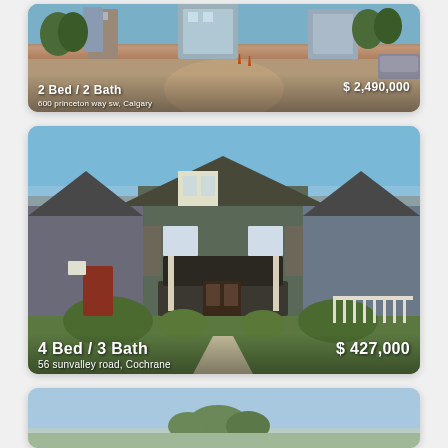[Figure (photo): Urban street view with high-rise condominiums in the background, brick paving in foreground. Text overlay: '2 Bed / 2 Bath' and '$ 2,490,000', address '600 princeton way sw, Calgary']
[Figure (photo): Exterior photo of a craftsman-style townhouse with dark grey siding, covered front porch. Text overlay: '4 Bed / 3 Bath' and '$ 427,000', address '56 sunvalley road, Cochrane']
[Figure (photo): Partially visible third listing card showing blue sky and trees, cut off at bottom of page.]